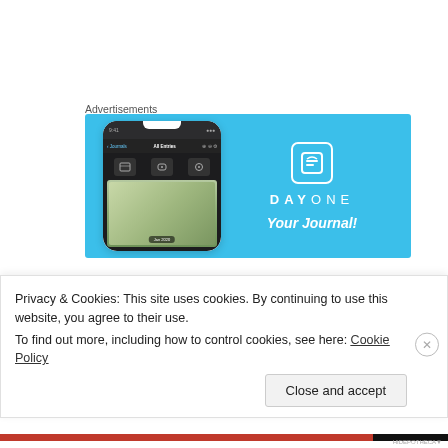Advertisements
[Figure (screenshot): DayOne app advertisement banner on a light blue background showing a phone mockup with the app interface, and the DayOne logo and tagline 'Your Journal!' on the right.]
[Figure (logo): Lascar decorative icon: a square with leaf/grain motif pattern in tan and gold tones.]
Lascar
Privacy & Cookies: This site uses cookies. By continuing to use this website, you agree to their use.
To find out more, including how to control cookies, see here: Cookie Policy
Close and accept